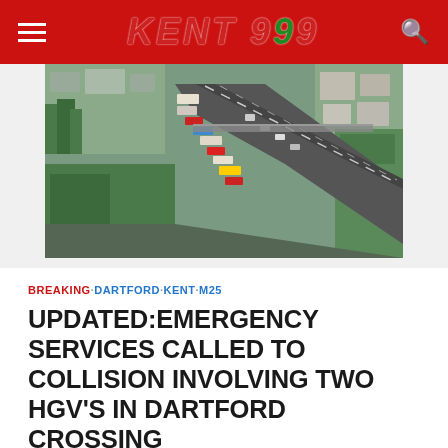KENT 999
[Figure (photo): Aerial drone photograph of congested motorway (M25/Dartford Crossing area) with heavy lorry and vehicle traffic queuing, taken from above showing multiple lanes, overpasses, and surrounding green areas and buildings.]
BREAKING · DARTFORD · KENT · M25
UPDATED:EMERGENCY SERVICES CALLED TO COLLISION INVOLVING TWO HGV'S IN DARTFORD CROSSING
October 14, 2021